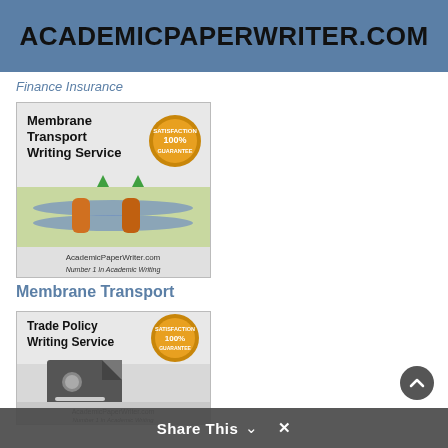ACADEMICPAPERWRITER.COM
Finance Insurance
[Figure (illustration): Membrane Transport Writing Service promotional card with cell membrane diagram and 100% Satisfaction Guarantee badge. Text: AcademicPaperWriter.com Number 1 In Academic Writing]
Membrane Transport
[Figure (illustration): Trade Policy Writing Service promotional card with certificate/document icon and 100% Satisfaction Guarantee badge. Text: AcademicPaperWriter.com Number 1 In Academic Writing]
Share This ∨  ×